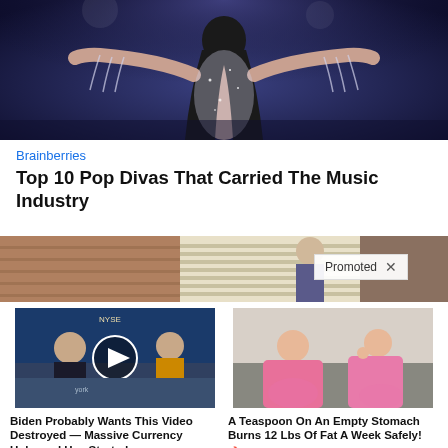[Figure (photo): A female performer on stage with arms outstretched, wearing a sparkly silver outfit, with long dark hair, against a dark blue stage background.]
Brainberries
Top 10 Pop Divas That Carried The Music Industry
[Figure (photo): Promoted banner showing two people in a room with brick wall and horizontal blinds in background. A 'Promoted X' label overlay appears.]
[Figure (photo): Video thumbnail showing a man in a suit at what appears to be a financial news studio (NYSE visible), with a play button overlay.]
Biden Probably Wants This Video Destroyed — Massive Currency Upheaval Has Started
🔥 144,004
[Figure (photo): Two women in pink pajamas sitting on a couch or bed.]
A Teaspoon On An Empty Stomach Burns 12 Lbs Of Fat A Week Safely!
🔥 13,019